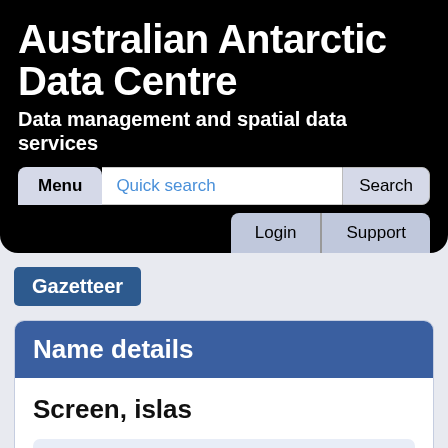Australian Antarctic Data Centre
Data management and spatial data services
[Figure (screenshot): Navigation bar with Menu button, Quick search input field, and Search button]
[Figure (screenshot): Secondary navigation row with Login and Support buttons]
Gazetteer
Name details
Screen, islas
Screen, islas (The name as it would appear in a gazetteer)